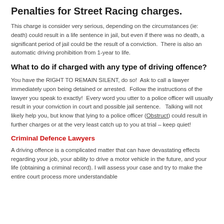Penalties for Street Racing charges.
This charge is consider very serious, depending on the circumstances (ie: death) could result in a life sentence in jail, but even if there was no death, a significant period of jail could be the result of a conviction.  There is also an automatic driving prohibition from 1-year to life.
What to do if charged with any type of driving offence?
You have the RIGHT TO REMAIN SILENT, do so!  Ask to call a lawyer immediately upon being detained or arrested.  Follow the instructions of the lawyer you speak to exactly!  Every word you utter to a police officer will usually result in your conviction in court and possible jail sentence.   Talking will not likely help you, but know that lying to a police officer (Obstruct) could result in further charges or at the very least catch up to you at trial – keep quiet!
Criminal Defence Lawyers
A driving offence is a complicated matter that can have devastating effects regarding your job, your ability to drive a motor vehicle in the future, and your life (obtaining a criminal record). I will assess your case and try to make the entire court process more understandable